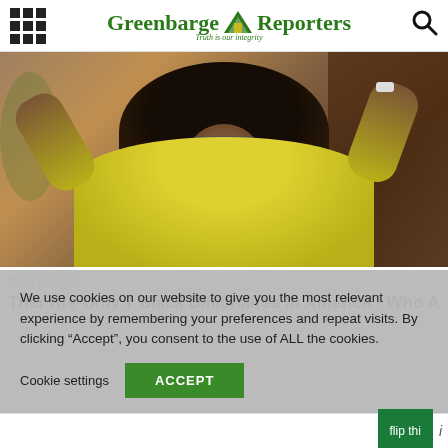Greenbarge Reporters — Truth is our integrity
[Figure (photo): Person with large natural hair wearing yellow top, arms raised, smiling, with sunglasses, outdoors]
Brainberries
Ther Are Only 7 Black Billionaires In America - Who Are
We use cookies on our website to give you the most relevant experience by remembering your preferences and repeat visits. By clicking “Accept”, you consent to the use of ALL the cookies.
Cookie settings   ACCEPT